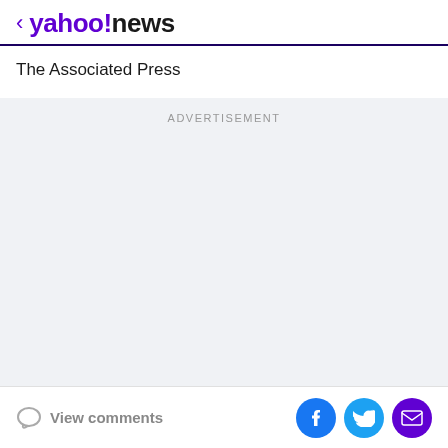< yahoo!news
The Associated Press
[Figure (other): Advertisement placeholder area with light gray background and ADVERTISEMENT label]
View comments | Social share buttons: Facebook, Twitter, Email